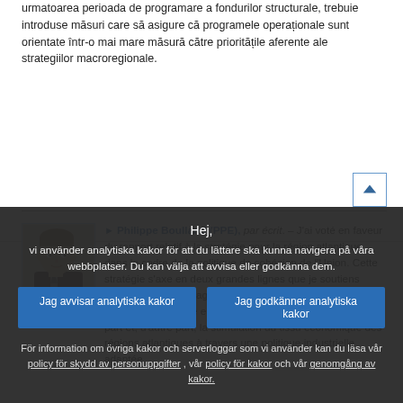urmatoarea perioada de programare a fondurilor structurale, trebuie introduse masuri care sa asigure ca programele operationale sunt orientate intr-o mai mare masura catre prioritatile aferente ale strategiilor macroregionale.
Philippe Boulland (PPE), par écrit. – J'ai voté en faveur du rapport relatif à la stratégie pour la région atlantique dans le cadre de la politique de cohésion de l'Union. Cette stratégie s'axe en deux grandes lignes que je soutiens pleinement : l'aménagement des espaces maritimes et terrestres et la mise en valeur de l'espace terre/mer d'une part et, d'autre part, la stimulation du tissu économique des régions atlantiques à travers une politique industrielle adaptée
Hej,
vi använder analytiska kakor för att du lättare ska kunna navigera på våra webbplatser. Du kan välja att avvisa eller godkänna dem.
Jag avvisar analytiska kakor
Jag godkänner analytiska kakor
För information om övriga kakor och serverloggar som vi använder kan du läsa vår policy för skydd av personuppgifter , vår policy för kakor och vår genomgång av kakor.